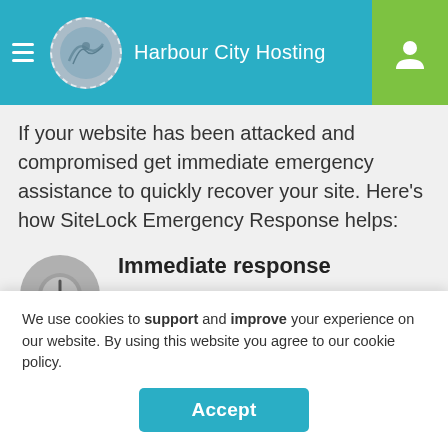Harbour City Hosting
If your website has been attacked and compromised get immediate emergency assistance to quickly recover your site. Here's how SiteLock Emergency Response helps:
Immediate response
Get our fastest response time with analysis and work to recover your site started within 30 minutes.
We use cookies to support and improve your experience on our website. By using this website you agree to our cookie policy.